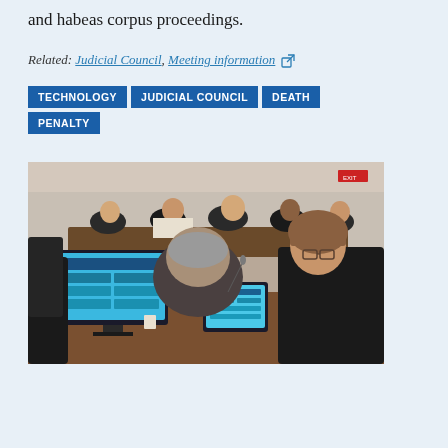and habeas corpus proceedings.
Related: Judicial Council, Meeting information [external link]
TECHNOLOGY
JUDICIAL COUNCIL
DEATH PENALTY
[Figure (photo): Members of the Judicial Council seated at a large conference table, with computer screens and tablets visible, during a council meeting.]